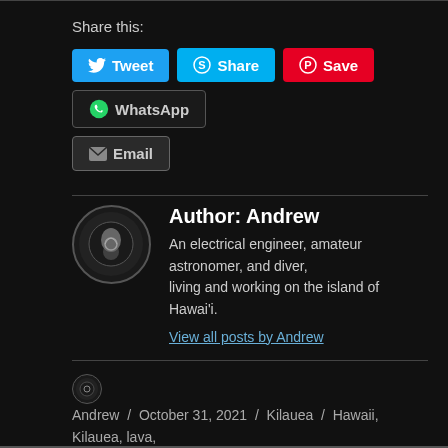Share this:
[Figure (infographic): Social share buttons: Tweet (blue), Share (cyan/Skype), Save (red/Pinterest), WhatsApp (dark with icon), Email (dark with envelope icon)]
Author: Andrew
An electrical engineer, amateur astronomer, and diver, living and working on the island of Hawai'i.
View all posts by Andrew
Andrew / October 31, 2021 / Kilauea / Hawaii, Kilauea, lava, photography, volcano